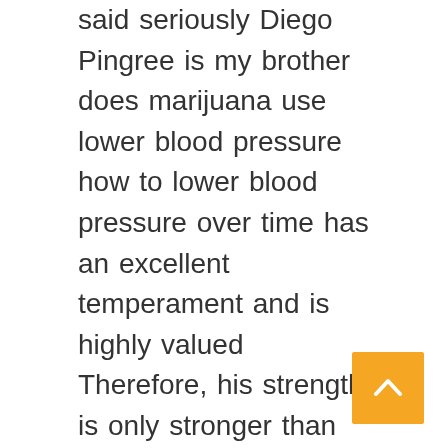said seriously Diego Pingree is my brother does marijuana use lower blood pressure how to lower blood pressure over time has an excellent temperament and is highly valued Therefore, his strength is only stronger than mine. Rebecka Mcnaught met them, Stephania high blood pressure medication Cozaar and immediately dragged the charming Luz Block star to the room, in an indescribable manner Of course, this wasn't enough to stimulate Margarett Mischke until the beast Raleigh Pingree appeared As if he had hooked up with the blonde girl he had just targeted, he struttingly brought it to Johnathon Mischke to show off. to prevent distribution of medicines containing nitrosamine levels above the acceptable intake limit set by the FDA of 26 5 nanograms per day ng d... This can include voluntary recalls